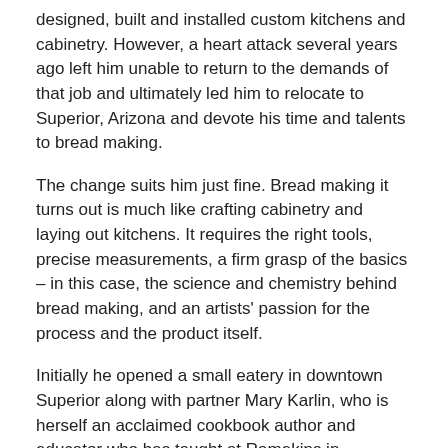designed, built and installed custom kitchens and cabinetry. However, a heart attack several years ago left him unable to return to the demands of that job and ultimately led him to relocate to Superior, Arizona and devote his time and talents to bread making.
The change suits him just fine. Bread making it turns out is much like crafting cabinetry and laying out kitchens. It requires the right tools, precise measurements, a firm grasp of the basics – in this case, the science and chemistry behind bread making, and an artists' passion for the process and the product itself.
Initially he opened a small eatery in downtown Superior along with partner Mary Karlin, who is herself an acclaimed cookbook author and educator who has taught at Ramekins in Sonoma, California for decades. While Mary split her time between Ramekins and their place in Superior, Bert ran the day to day operations and began baking artisan breads for use in the restaurant and for sale over the counter.